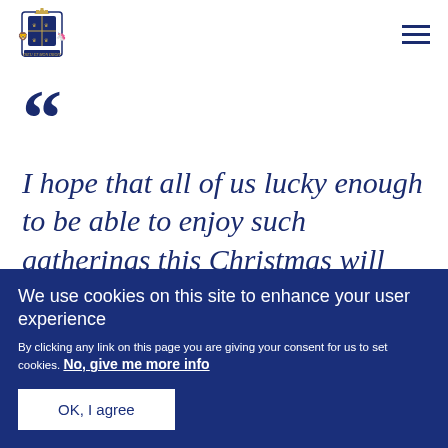[Figure (logo): Royal coat of arms of the United Kingdom, dark blue shield with lion and unicorn supporters]
I hope that all of us lucky enough to be able to enjoy such gatherings this Christmas will take
We use cookies on this site to enhance your user experience
By clicking any link on this page you are giving your consent for us to set cookies. No, give me more info
OK, I agree